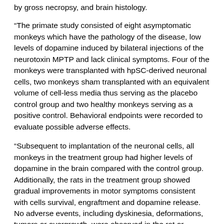by gross necropsy, and brain histology.
“The primate study consisted of eight asymptomatic monkeys which have the pathology of the disease, low levels of dopamine induced by bilateral injections of the neurotoxin MPTP and lack clinical symptoms. Four of the monkeys were transplanted with hpSC-derived neuronal cells, two monkeys sham transplanted with an equivalent volume of cell-less media thus serving as the placebo control group and two healthy monkeys serving as a positive control. Behavioral endpoints were recorded to evaluate possible adverse effects.
“Subsequent to implantation of the neuronal cells, all monkeys in the treatment group had higher levels of dopamine in the brain compared with the control group. Additionally, the rats in the treatment group showed gradual improvements in motor symptoms consistent with cells survival, engraftment and dopamine release. No adverse events, including dyskinesia, deformations, tumors or overgrowth, were observed in the rat or monkey treatment groups. Overall, these results provide evidence to support the hypothesis that hpSC-derived neuronal cells can be safe and have a disease modifying effect. These results, although